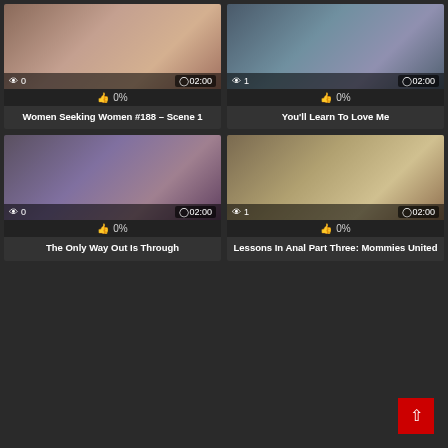[Figure (screenshot): Video thumbnail 1 with 0 views and 02:00 duration]
0%
Women Seeking Women #188 – Scene 1
[Figure (screenshot): Video thumbnail 2 with 1 view and 02:00 duration]
0%
You'll Learn To Love Me
[Figure (screenshot): Video thumbnail 3 with 0 views and 02:00 duration]
0%
The Only Way Out Is Through
[Figure (screenshot): Video thumbnail 4 with 1 view and 02:00 duration]
0%
Lessons In Anal Part Three: Mommies United